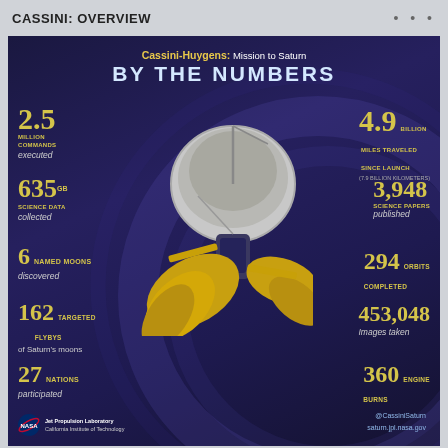CASSINI: OVERVIEW
[Figure (infographic): Cassini-Huygens Mission to Saturn infographic titled 'BY THE NUMBERS' showing statistics: 2.5 million commands executed, 4.9 billion miles traveled since launch, 635 GB science data collected, 3,948 science papers published, 6 named moons discovered, 294 orbits completed, 162 targeted flybys of Saturn's moons, 453,048 images taken, 27 nations participated, 360 engine burns. Features a central image of the Cassini spacecraft. NASA/JPL logo and @CassiniSaturn, saturn.jpl.nasa.gov shown at bottom.]